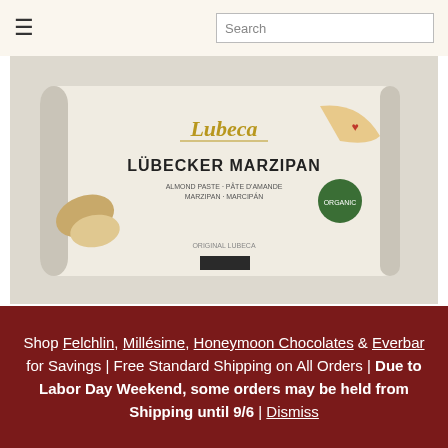≡  Search
[Figure (photo): Package of Lubeca Lübecker Marzipan 52% Mediterranean Almond Paste, 1kg, white packaging with almonds and marzipan decorations visible]
SALE Lubeca ORGANIC Lübecker Marzipan 52% Mediterranean Almond Paste – 1kg
Shop Felchlin, Millésime, Honeymoon Chocolates & Everbar for Savings | Free Standard Shipping on All Orders | Due to Labor Day Weekend, some orders may be held from Shipping until 9/6 | Dismiss